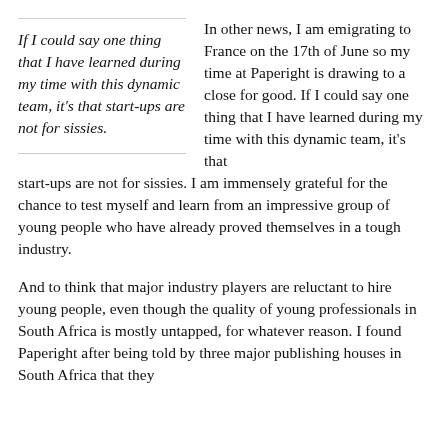If I could say one thing that I have learned during my time with this dynamic team, it's that start-ups are not for sissies.
In other news, I am emigrating to France on the 17th of June so my time at Paperight is drawing to a close for good. If I could say one thing that I have learned during my time with this dynamic team, it's that start-ups are not for sissies. I am immensely grateful for the chance to test myself and learn from an impressive group of young people who have already proved themselves in a tough industry.
And to think that major industry players are reluctant to hire young people, even though the quality of young professionals in South Africa is mostly untapped, for whatever reason. I found Paperight after being told by three major publishing houses in South Africa that they